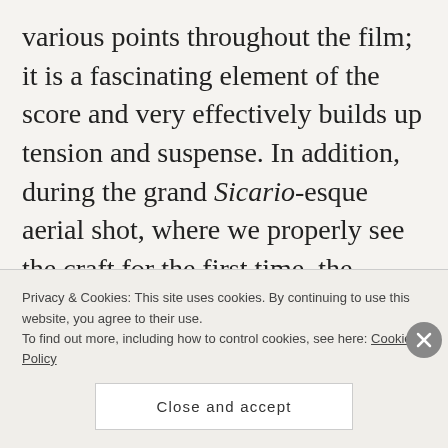various points throughout the film; it is a fascinating element of the score and very effectively builds up tension and suspense. In addition, during the grand Sicario-esque aerial shot, where we properly see the craft for the first time, the accompanying piece of music is a dirge (courtesy of cellos I think – again, not a musician!), which immediately made me think of whale song and more specifically, Star Trek IV: The Voyage Home. On the whole, the score is indeed effective, it holds our interest
Privacy & Cookies: This site uses cookies. By continuing to use this website, you agree to their use.
To find out more, including how to control cookies, see here: Cookie Policy
Close and accept